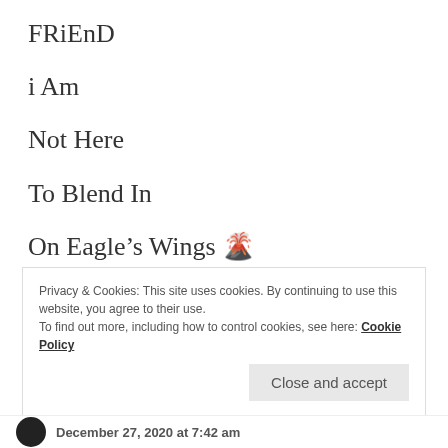FRiEnD
i Am
Not Here
To Blend In
On Eagle’s Wings 🌋
Liked by 1 person
Privacy & Cookies: This site uses cookies. By continuing to use this website, you agree to their use.
To find out more, including how to control cookies, see here: Cookie Policy
Close and accept
December 27, 2020 at 7:42 am